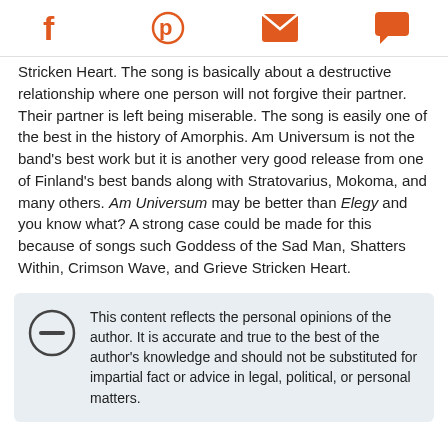[Social share icons: Facebook, Pinterest, Email, Chat]
Stricken Heart. The song is basically about a destructive relationship where one person will not forgive their partner. Their partner is left being miserable. The song is easily one of the best in the history of Amorphis. Am Universum is not the band's best work but it is another very good release from one of Finland's best bands along with Stratovarius, Mokoma, and many others. Am Universum may be better than Elegy and you know what? A strong case could be made for this because of songs such Goddess of the Sad Man, Shatters Within, Crimson Wave, and Grieve Stricken Heart.
This content reflects the personal opinions of the author. It is accurate and true to the best of the author's knowledge and should not be substituted for impartial fact or advice in legal, political, or personal matters.